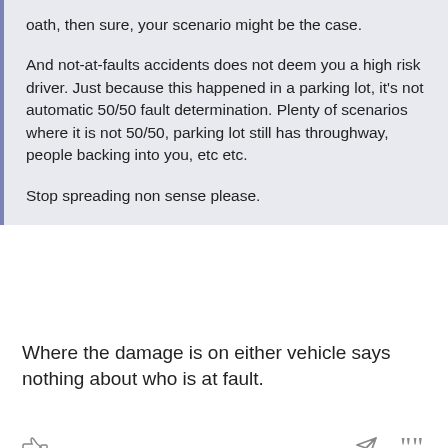oath, then sure, your scenario might be the case.

And not-at-faults accidents does not deem you a high risk driver. Just because this happened in a parking lot, it's not automatic 50/50 fault determination. Plenty of scenarios where it is not 50/50, parking lot still has throughway, people backing into you, etc etc.

Stop spreading non sense please.
Where the damage is on either vehicle says nothing about who is at fault.
FrugalConsumer